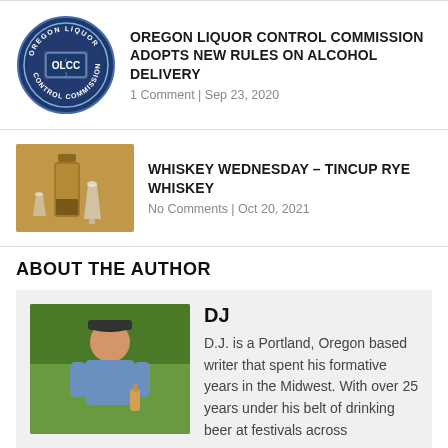[Figure (logo): Oregon Liquor Control Commission circular logo with OLCC text]
OREGON LIQUOR CONTROL COMMISSION ADOPTS NEW RULES ON ALCOHOL DELIVERY
1 Comment | Sep 23, 2020
[Figure (photo): Whiskey bottle and glasses photo]
WHISKEY WEDNESDAY – TINCUP RYE WHISKEY
No Comments | Oct 20, 2021
ABOUT THE AUTHOR
[Figure (photo): Author DJ photo outdoors holding a beer]
DJ
D.J. is a Portland, Oregon based writer that spent his formative years in the Midwest. With over 25 years under his belt of drinking beer at festivals across America and the world, he has developed a strong appreciation and understanding of craft beer and the industry that surrounds it. He can be found in any of the